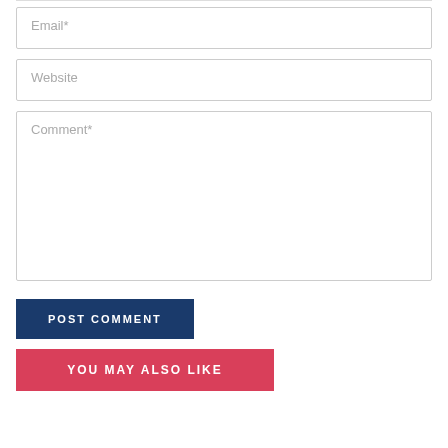Email*
Website
Comment*
POST COMMENT
YOU MAY ALSO LIKE